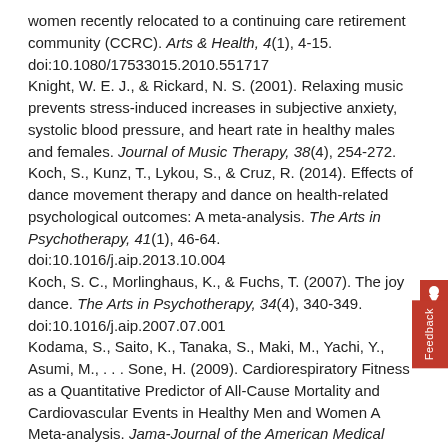women recently relocated to a continuing care retirement community (CCRC). Arts & Health, 4(1), 4-15. doi:10.1080/17533015.2010.551717
Knight, W. E. J., & Rickard, N. S. (2001). Relaxing music prevents stress-induced increases in subjective anxiety, systolic blood pressure, and heart rate in healthy males and females. Journal of Music Therapy, 38(4), 254-272.
Koch, S., Kunz, T., Lykou, S., & Cruz, R. (2014). Effects of dance movement therapy and dance on health-related psychological outcomes: A meta-analysis. The Arts in Psychotherapy, 41(1), 46-64. doi:10.1016/j.aip.2013.10.004
Koch, S. C., Morlinghaus, K., & Fuchs, T. (2007). The joy dance. The Arts in Psychotherapy, 34(4), 340-349. doi:10.1016/j.aip.2007.07.001
Kodama, S., Saito, K., Tanaka, S., Maki, M., Yachi, Y., Asumi, M., . . . Sone, H. (2009). Cardiorespiratory Fitness as a Quantitative Predictor of All-Cause Mortality and Cardiovascular Events in Healthy Men and Women A Meta-analysis. Jama-Journal of the American Medical Association, 301(19), 2024-2035.
Kosmat, H., & Vranic, A. (2016). The Efficacy of Dance